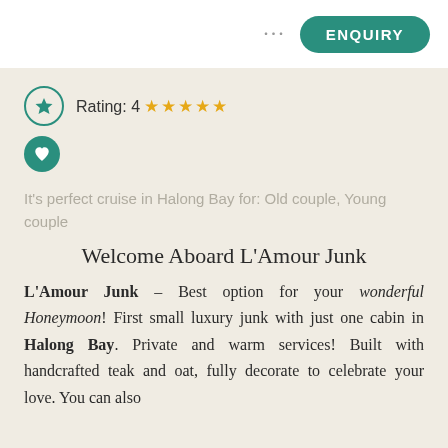... ENQUIRY
Rating: 4 ★★★★★
It's perfect cruise in Halong Bay for: Old couple, Young couple
Welcome Aboard L'Amour Junk
L'Amour Junk – Best option for your wonderful Honeymoon! First small luxury junk with just one cabin in Halong Bay. Private and warm services! Built with handcrafted teak and oat, fully decorate to celebrate your love. You can also